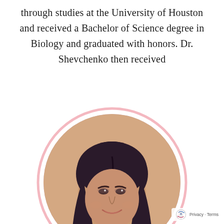through studies at the University of Houston and received a Bachelor of Science degree in Biology and graduated with honors. Dr. Shevchenko then received
[Figure (photo): Portrait photo of Dr. Shevchenko, a woman with long dark hair, smiling, inside a pink oval border frame]
Privacy · Terms